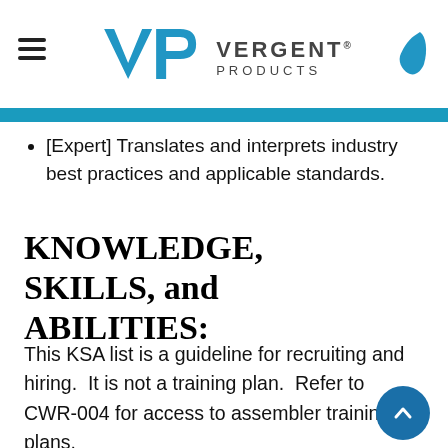Vergent Products logo with hamburger menu and phone icon
[Expert] Translates and interprets industry best practices and applicable standards.
KNOWLEDGE, SKILLS, and ABILITIES:
This KSA list is a guideline for recruiting and hiring.  It is not a training plan.  Refer to CWR-004 for access to assembler training plans.